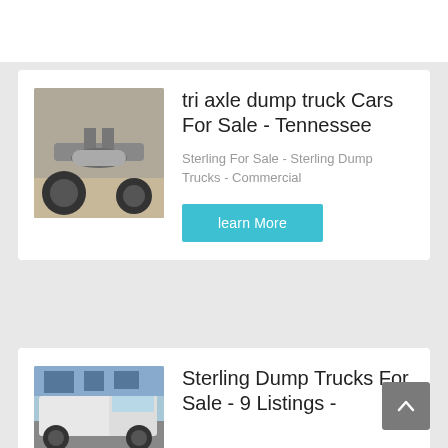[Figure (photo): Underside/axle view of a tri axle dump truck]
tri axle dump truck Cars For Sale - Tennessee
Sterling For Sale - Sterling Dump Trucks - Commercial
learn More
[Figure (photo): White commercial truck/tractor parked with trees in background]
Sterling Dump Trucks For Sale - 9 Listings - ...